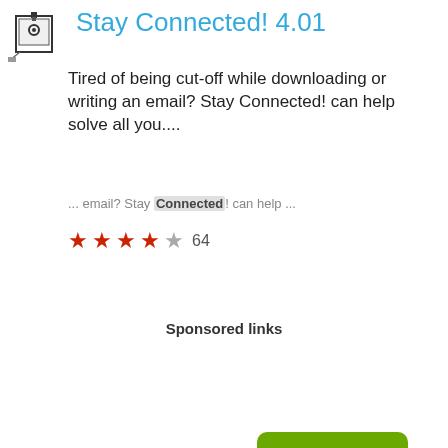Stay Connected! 4.01
Tired of being cut-off while downloading or writing an email? Stay Connected! can help solve all you....
... email? Stay Connected! can help ...
★★★★☆ 64
Download
Sponsored links